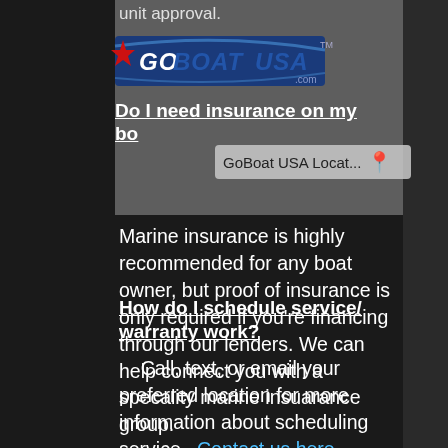unit approval.
[Figure (logo): GoBoatUSA.com logo with red star and blue text on dark banner]
Do I need insurance on my boat?
GoBoat USA Locat...
Marine insurance is highly recommended for any boat owner, but proof of insurance is only required if you're financing through our lenders. We can help connect you with a specality marine insuarance group.
How do I schedule service/warranty work?
Call, text, or email your preferred location for more information about scheduling service. Contact us here